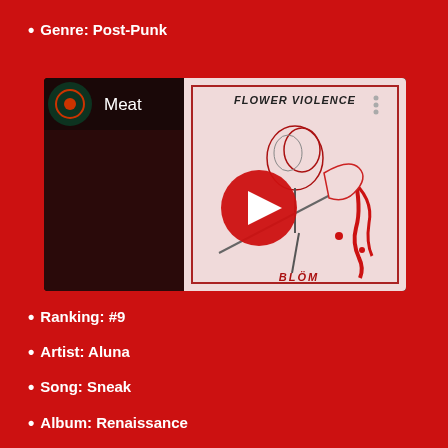Genre: Post-Punk
[Figure (screenshot): YouTube music player screenshot showing a song titled 'Meat' with album art from 'Flower Violence' by BLÖM — artwork depicting a hand holding a rose with a knife, dripping blood. A red YouTube play button is in the center.]
Ranking: #9
Artist: Aluna
Song: Sneak
Album: Renaissance